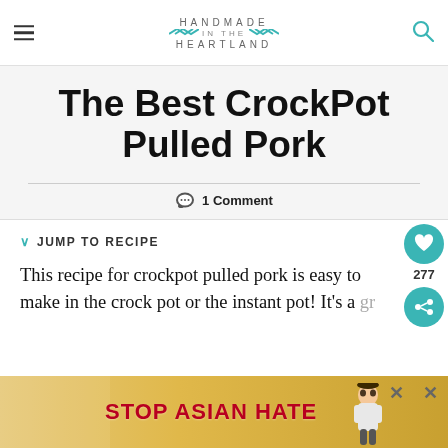Handmade in the Heartland
The Best CrockPot Pulled Pork
1 Comment
JUMP TO RECIPE
This recipe for crockpot pulled pork is easy to make in the crock pot or the instant pot! It's a gr…come a
[Figure (other): Stop Asian Hate advertisement banner at bottom of page]